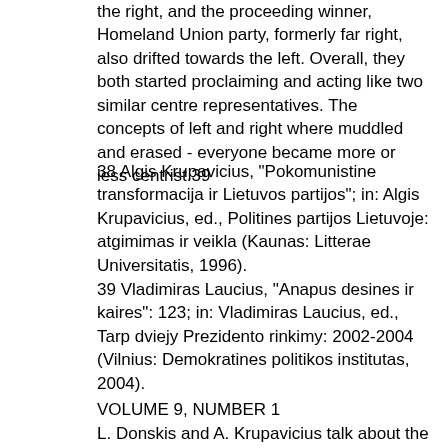the right, and the proceeding winner, Homeland Union party, formerly far right, also drifted towards the left. Overall, they both started proclaiming and acting like two similar centre representatives. The concepts of left and right where muddled and erased - everyone became more or less centrist.39
38 Algis Krupavicius, "Pokomunistine transformacija ir Lietuvos partijos"; in: Algis Krupavicius, ed., Politines partijos Lietuvoje: atgimimas ir veikla (Kaunas: Litterae Universitatis, 1996).
39 Vladimiras Laucius, "Anapus desines ir kaires": 123; in: Vladimiras Laucius, ed., Tarp dviejy Prezidento rinkimy: 2002-2004 (Vilnius: Demokratines politikos institutas, 2004).
VOLUME 9, NUMBER 1
L. Donskis and A. Krupavicius talk about the presidential as well as political system's crisis situation of year 2003-2004 as a phenomenon which shows the (re)appearance of populism in the Lithuanian political arena, because of President R. Paksas' refusal to collaborate with the Parliament and with the